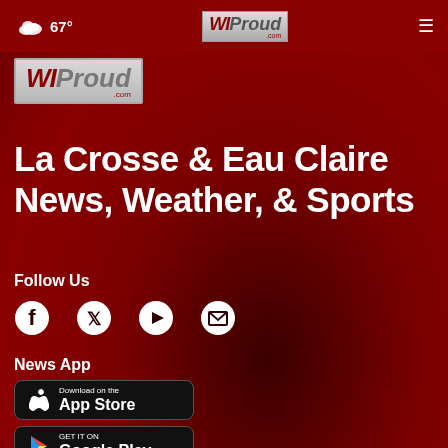67° WIProud.com navigation bar
[Figure (logo): WIProud.com secondary logo in grey box]
La Crosse & Eau Claire News, Weather, & Sports
Follow Us
[Figure (infographic): Social media icons: Facebook, Twitter, YouTube, Email]
News App
[Figure (infographic): Download on the App Store badge and GET IT ON Google Play badge]